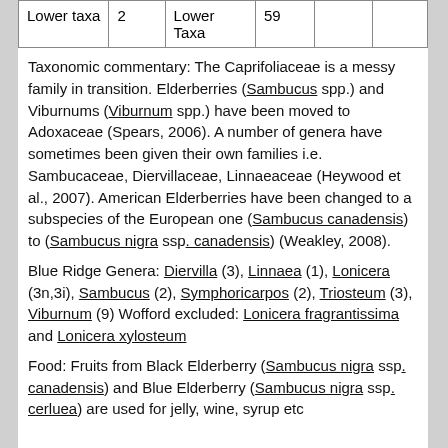| Lower taxa | 2 | Lower Taxa | 59 |  |  |
Taxonomic commentary: The Caprifoliaceae is a messy family in transition. Elderberries (Sambucus spp.) and Viburnums (Viburnum spp.) have been moved to Adoxaceae (Spears, 2006). A number of genera have sometimes been given their own families i.e. Sambucaceae, Diervillaceae, Linnaeaceae (Heywood et al., 2007). American Elderberries have been changed to a subspecies of the European one (Sambucus canadensis) to (Sambucus nigra ssp. canadensis) (Weakley, 2008).
Blue Ridge Genera: Diervilla (3), Linnaea (1), Lonicera (3n,3i), Sambucus (2), Symphoricarpos (2), Triosteum (3), Viburnum (9) Wofford excluded: Lonicera fragrantissima and Lonicera xylosteum
Food: Fruits from Black Elderberry (Sambucus nigra ssp. canadensis) and Blue Elderberry (Sambucus nigra ssp. cerluea) are used for jelly, wine, syrup etc